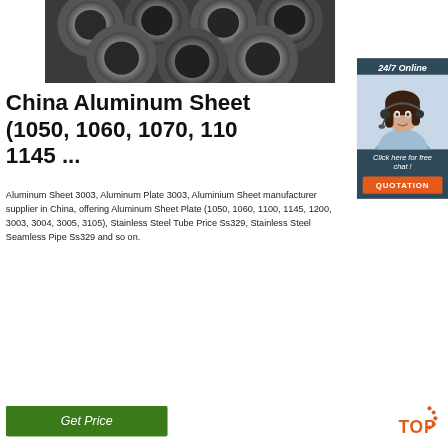[Figure (photo): Stack of metallic aluminum/steel tubes viewed from the end, showing circular cross-sections in a dark industrial setting]
[Figure (photo): 24/7 Online customer service representative (woman with headset) in a dark blue sidebar panel with 'Click here for free chat!' text and orange QUOTATION button]
China Aluminum Sheet (1050, 1060, 1070, 1100, 1145 ...
Aluminum Sheet 3003, Aluminum Plate 3003, Aluminium Sheet manufacturer supplier in China, offering Aluminum Sheet Plate (1050, 1060, 1100, 1145, 1200, 3003, 3004, 3005, 3105), Stainless Steel Tube Price Ss329, Stainless Steel Seamless Pipe Ss329 and so on.
[Figure (other): Green 'Get Price' button]
[Figure (other): TOP badge with orange dots arranged in a circle above the word TOP in orange text]